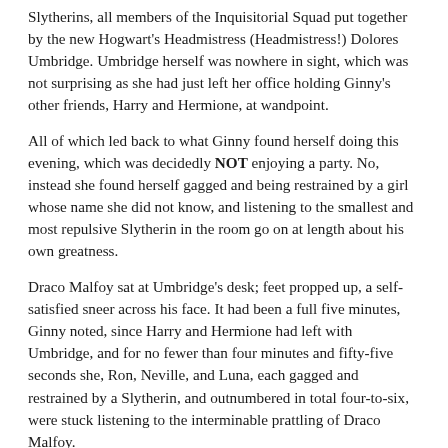Slytherins, all members of the Inquisitorial Squad put together by the new Hogwart's Headmistress (Headmistress!) Dolores Umbridge. Umbridge herself was nowhere in sight, which was not surprising as she had just left her office holding Ginny's other friends, Harry and Hermione, at wandpoint.
All of which led back to what Ginny found herself doing this evening, which was decidedly NOT enjoying a party. No, instead she found herself gagged and being restrained by a girl whose name she did not know, and listening to the smallest and most repulsive Slytherin in the room go on at length about his own greatness.
Draco Malfoy sat at Umbridge's desk; feet propped up, a self-satisfied sneer across his face. It had been a full five minutes, Ginny noted, since Harry and Hermione had left with Umbridge, and for no fewer than four minutes and fifty-five seconds she, Ron, Neville, and Luna, each gagged and restrained by a Slytherin, and outnumbered in total four-to-six, were stuck listening to the interminable prattling of Draco Malfoy.
“… Of course I knew exactly who it was when I heard the alarm,” droned Malfoy. “Imagine. Breaking into the Headmistress’ office to send a Floo message. Only that idiot Potter would be so stupid to think that he could defy the Inquisitorial Squad and get away